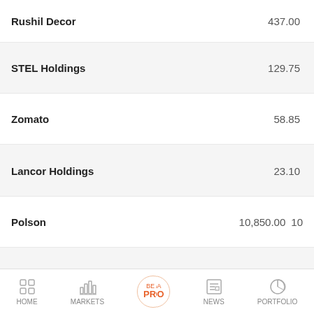Rushil Decor — 437.00
STEL Holdings — 129.75
Zomato — 58.85
Lancor Holdings — 23.10
Polson — 10,850.00  10
Solid Stone — 29.00
Guj Petrosynth
HOME  MARKETS  BE A PRO  NEWS  PORTFOLIO